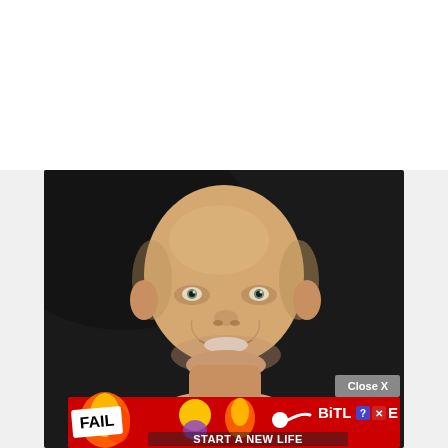[Figure (photo): Headshot portrait of a bald smiling man against a dark background]
[Figure (screenshot): BitLife mobile game advertisement banner with 'FAIL' text, animated character, flames, sperm icon, BitLife logo with question mark and X buttons, and 'START A NEW LIFE' text on red background. 'Close X' button in grey above the ad.]